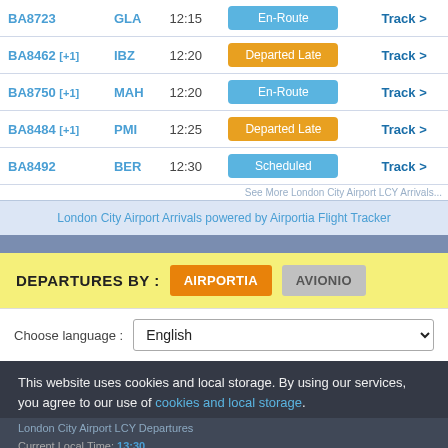| Flight | Dest | Time | Status | Action |
| --- | --- | --- | --- | --- |
| BA8723 | GLA | 12:15 | En-Route | Track > |
| BA8462 [+1] | IBZ | 12:20 | Departed Late | Track > |
| BA8750 [+1] | MAH | 12:20 | En-Route | Track > |
| BA8484 [+1] | PMI | 12:25 | Departed Late | Track > |
| BA8492 | BER | 12:30 | Scheduled | Track > |
See More London City Airport LCY Arrivals...
London City Airport Arrivals powered by Airportia Flight Tracker
DEPARTURES BY : AIRPORTIA  AVIONIO
Choose language : English
This website uses cookies and local storage. By using our services, you agree to our use of cookies and local storage.
London City Airport LCY Departures
Current Local Time: 13:30
I AGREE
Fri 26/08/2022  (+) 09:00  (+) 13:59  (+)